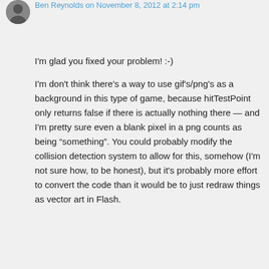[Figure (photo): Circular avatar/profile photo of a person with dark hair against a light background]
Ben Reynolds on November 8, 2012 at 2:14 pm
I'm glad you fixed your problem! :-)
I'm don't think there's a way to use gif's/png's as a background in this type of game, because hitTestPoint only returns false if there is actually nothing there — and I'm pretty sure even a blank pixel in a png counts as being “something”. You could probably modify the collision detection system to allow for this, somehow (I'm not sure how, to be honest), but it's probably more effort to convert the code than it would be to just redraw things as vector art in Flash.